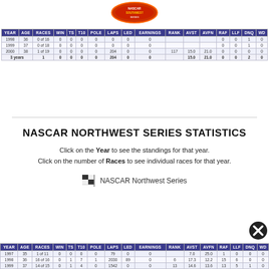[Figure (logo): NASCAR Southwest Series logo at top of page]
| YEAR | AGE | RACES | WIN | TS | T10 | POLE | LAPS | LED | EARNINGS | RANK | AVST | AVFN | RAF | LLF | DNQ | WD |
| --- | --- | --- | --- | --- | --- | --- | --- | --- | --- | --- | --- | --- | --- | --- | --- | --- |
| 1998 | 36 | 0 of 16 | 0 | 0 | 0 | 0 | 0 | 0 | 0 |  |  |  | 0 | 0 | 1 | 0 |
| 1999 | 37 | 0 of 18 | 0 | 0 | 0 | 0 | 0 | 0 | 0 |  |  |  | 0 | 0 | 1 | 0 |
| 2000 | 38 | 1 of 19 | 0 | 0 | 0 | 0 | 204 | 0 | 0 | 117 | 15.0 | 21.0 | 0 | 0 | 0 | 0 |
| 3 years |  | 1 | 0 | 0 | 0 | 0 | 204 | 0 | 0 |  | 15.0 | 21.0 | 0 | 0 | 2 | 0 |
NASCAR NORTHWEST SERIES STATISTICS
Click on the Year to see the standings for that year. Click on the number of Races to see individual races for that year.
[Figure (logo): NASCAR Northwest Series logo with flag icon]
| YEAR | AGE | RACES | WIN | TS | T10 | POLE | LAPS | LED | EARNINGS | RANK | AVST | AVFN | RAF | LLF | DNQ | WD |
| --- | --- | --- | --- | --- | --- | --- | --- | --- | --- | --- | --- | --- | --- | --- | --- | --- |
| 1997 | 35 | 1 of 11 | 0 | 0 | 0 | 0 | 79 | 0 | 0 |  | 7.0 | 25.0 | 1 | 0 | 0 | 0 |
| 1998 | 36 | 16 of 16 | 0 | 1 | 7 | 1 | 2030 | 89 | 0 | 6 | 17.3 | 12.2 | 15 | 6 | 0 | 0 |
| 1999 | 37 | 14 of 15 | 0 | 1 | 4 | 0 | 1542 | 0 | 0 | 13 | 14.6 | 13.6 | 13 | 5 | 1 | 0 |